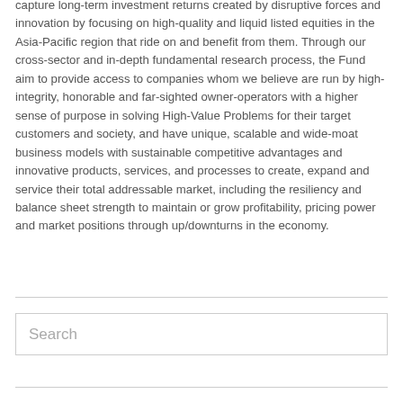capture long-term investment returns created by disruptive forces and innovation by focusing on high-quality and liquid listed equities in the Asia-Pacific region that ride on and benefit from them. Through our cross-sector and in-depth fundamental research process, the Fund aim to provide access to companies whom we believe are run by high-integrity, honorable and far-sighted owner-operators with a higher sense of purpose in solving High-Value Problems for their target customers and society, and have unique, scalable and wide-moat business models with sustainable competitive advantages and innovative products, services, and processes to create, expand and service their total addressable market, including the resiliency and balance sheet strength to maintain or grow profitability, pricing power and market positions through up/downturns in the economy.
Search